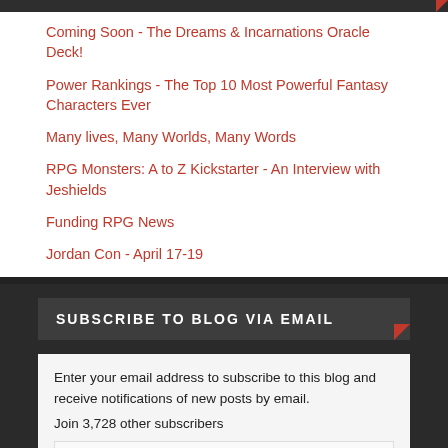Coming Soon - The Dreams & Incarnations Oracle Deck!
Power Rankings - The Top 10 Most Powerful Fantasy Characters Ever
Many lives, Many Worlds, Many Words
RPG Monsters: A to Z Kickstarter - An Interview with Jeshields
Funding RPG News
Jordan Con - April 17-19
SUBSCRIBE TO BLOG VIA EMAIL
Enter your email address to subscribe to this blog and receive notifications of new posts by email.
Join 3,728 other subscribers